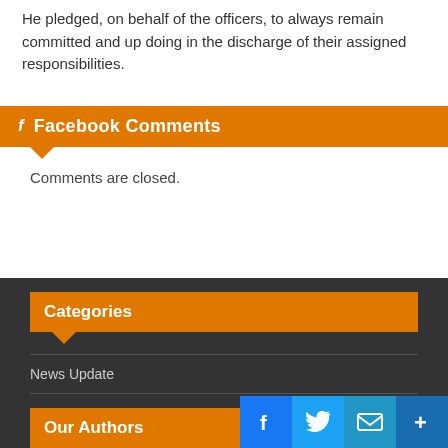He pledged, on behalf of the officers, to always remain committed and up doing in the discharge of their assigned responsibilities.
Facebook Comments
Comments are closed.
Categories
News Update
Our Authors